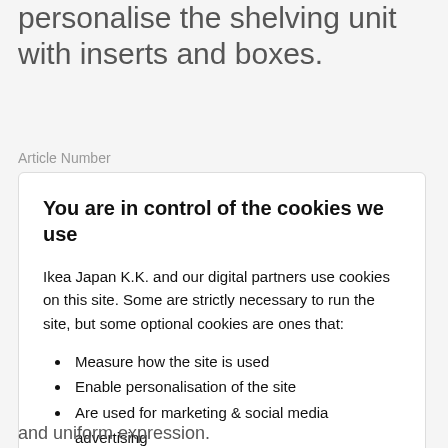personalise the shelving unit with inserts and boxes.
Article Number
You are in control of the cookies we use
Ikea Japan K.K. and our digital partners use cookies on this site. Some are strictly necessary to run the site, but some optional cookies are ones that:
Measure how the site is used
Enable personalisation of the site
Are used for marketing & social media advertising
Read more about these cookies
Ok
Change Settings
and uniform expression.